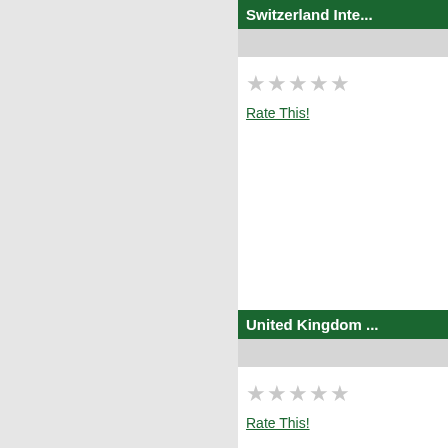Switzerland Inte...
★★★★★ (empty stars)
Rate This!
United Kingdom ...
★★★★★ (empty stars)
Rate This!